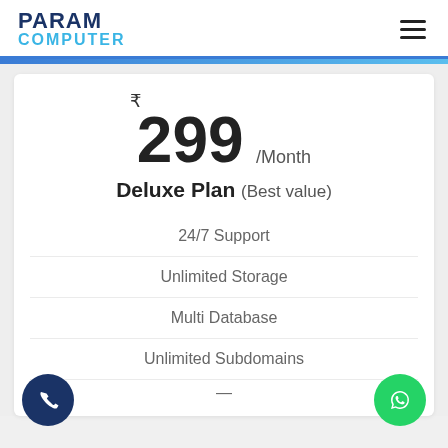PARAM COMPUTER
₹299 /Month
Deluxe Plan (Best value)
24/7 Support
Unlimited Storage
Multi Database
Unlimited Subdomains